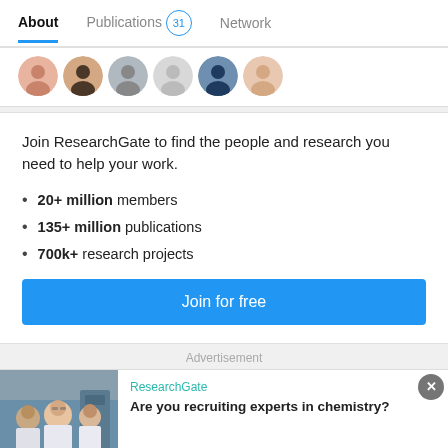About   Publications 31   Network
[Figure (photo): Row of circular profile photo avatars of ResearchGate users]
Join ResearchGate to find the people and research you need to help your work.
20+ million members
135+ million publications
700k+ research projects
Join for free
Advertisement
[Figure (photo): Advertisement banner showing lab researchers in white coats]
ResearchGate
Are you recruiting experts in chemistry?